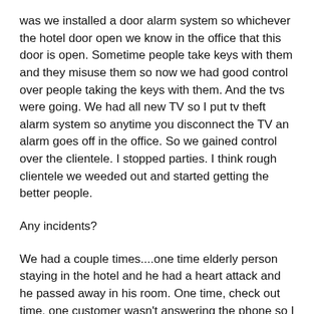was we installed a door alarm system so whichever the hotel door open we know in the office that this door is open. Sometime people take keys with them and they misuse them so now we had good control over people taking the keys with them. And the tvs were going. We had all new TV so I put tv theft alarm system so anytime you disconnect the TV an alarm goes off in the office. So we gained control over the clientele. I stopped parties. I think rough clientele we weeded out and started getting the better people.
Any incidents?
We had a couple times....one time elderly person staying in the hotel and he had a heart attack and he passed away in his room. One time, check out time, one customer wasn't answering the phone so I go and knock on his door you know...I see the person sleeping on the bed,